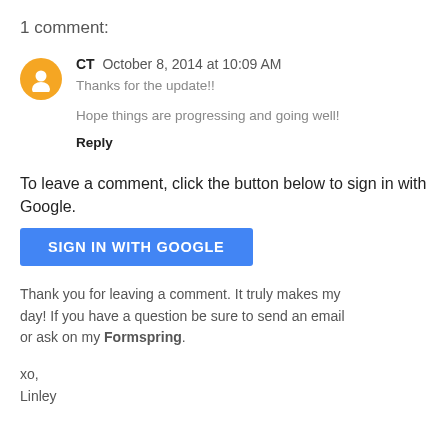1 comment:
CT  October 8, 2014 at 10:09 AM
Thanks for the update!!

Hope things are progressing and going well!
Reply
To leave a comment, click the button below to sign in with Google.
[Figure (other): Blue button labeled SIGN IN WITH GOOGLE]
Thank you for leaving a comment. It truly makes my day! If you have a question be sure to send an email or ask on my Formspring.
xo,
Linley